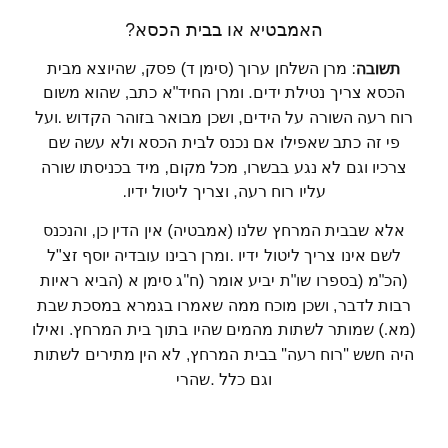האמבטיא או בבית הכסא?
תשובה: מרן השלחן ערוך (סימן ד) פסק, שהיוצא מבית הכסא צריך נטילת ידים. ומרן החיד"א כתב, שהוא משום רוח רעה השורה על הידים, ושכן מבואר בזוהר הקדוש .ועל פי זה כתב שאפילו אם נכנס לבית הכסא ולא עשה שם צרכיו וגם לא נגע בבשרו, מכל מקום, מיד בכניסתו שורה עליו רוח רעה, וצריך ליטול ידיו.
אלא שבבית המרחץ שלנו (אמבטיה) אין הדין כן, והנכנס לשם אינו צריך ליטול ידיו .ומרן רבינו עובדיה יוסף זצ"ל (הכ"מ (בספרו שו"ת יביע אומר (ח"ג סימן א (הביא ראיות רבות לדבר, ושכן מוכח ממה שאמרו בגמרא במסכת שבת (מא.) שמותר לשתות מהמים שהיו בתוך בית המרחץ. ואילו היה חשש "רוח רעה" בבית המרחץ, לא הין מתירים לשתות וגם כלל .שהרי